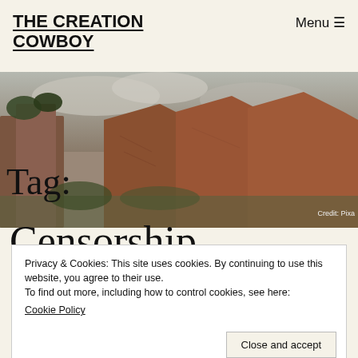THE CREATION COWBOY
Menu ☰
[Figure (photo): Panoramic photo of red rock canyon formations with trees and overcast sky]
Tag:
Credit: Pixa
Censorship
Privacy & Cookies: This site uses cookies. By continuing to use this website, you agree to their use.
To find out more, including how to control cookies, see here:
Cookie Policy
Close and accept